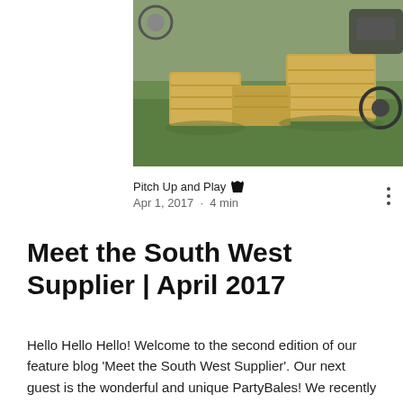[Figure (photo): Outdoor photo showing hay bales on green grass with a vehicle partially visible in the background]
Pitch Up and Play 👑
Apr 1, 2017  ·  4 min
Meet the South West Supplier | April 2017
Hello Hello Hello! Welcome to the second edition of our feature blog 'Meet the South West Supplier'. Our next guest is the wonderful and unique PartyBales! We recently saw their bales featured on ITV's 'This Morning' and just had to hear more about what they do! So as always, pop the kettle on and find out more about this great supplier who is loved here in the SW and most of England and South Wales too...